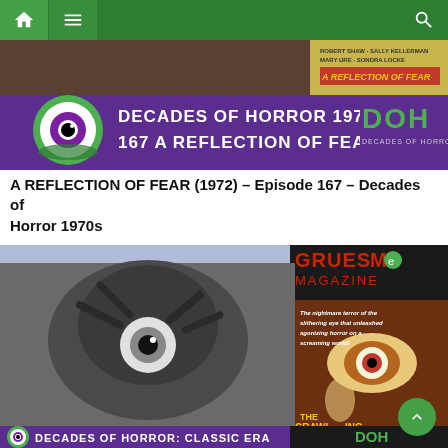Navigation bar with home, menu, and search icons
[Figure (screenshot): Decades of Horror 1970s – Episode 167 A Reflection of Fear banner with purple background, eyeball logo, DOH branding, and movie poster for A Reflection of Fear]
A REFLECTION OF FEAR (1972) – Episode 167 – Decades of Horror 1970s
[Figure (screenshot): Gruesome Magazine banner featuring a black and white still of a creature with a large eyeball face, alongside a Gruesome Magazine cover showing 'The Crawling Eye' movie poster with tagline 'The nightmare terror of the slithering eye that unleashed agonizing horror on a screaming world!' and a Decades of Horror Classic Era banner at the bottom]